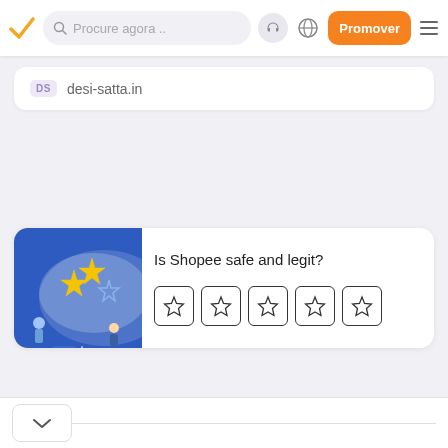[Figure (screenshot): Navigation bar with orange checkmark logo, search bar reading 'Procure agora..', headphone icon, globe icon, orange 'Promover' button, and hamburger menu]
DS  desi-satta.in
[Figure (illustration): Blue background illustration with people rating stars, used as Shopee card image]
Is Shopee safe and legit?
[Figure (other): Five empty star rating boxes arranged in a row]
[Figure (other): Bottom bar with a chevron down button]